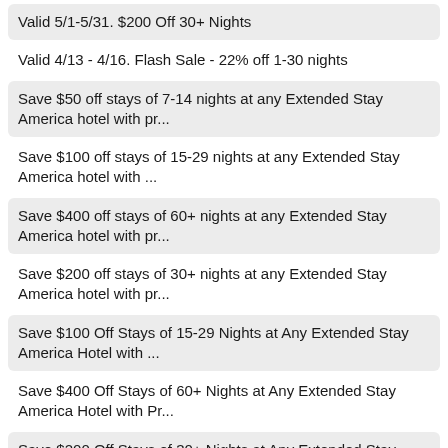Valid 5/1-5/31. $200 Off 30+ Nights
Valid 4/13 - 4/16. Flash Sale - 22% off 1-30 nights
Save $50 off stays of 7-14 nights at any Extended Stay America hotel with pr...
Save $100 off stays of 15-29 nights at any Extended Stay America hotel with ...
Save $400 off stays of 60+ nights at any Extended Stay America hotel with pr...
Save $200 off stays of 30+ nights at any Extended Stay America hotel with pr...
Save $100 Off Stays of 15-29 Nights at Any Extended Stay America Hotel with ...
Save $400 Off Stays of 60+ Nights at Any Extended Stay America Hotel with Pr...
Save $200 Off Stays of 30+ Nights at Any Extended Stay America Hotel with Pr...
Save up to 30% at any Extended Stay America hotel with promo code MZ630